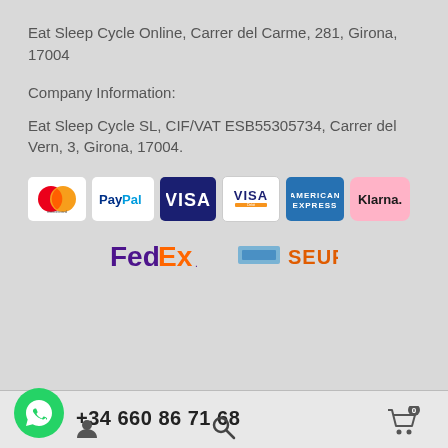Eat Sleep Cycle Online, Carrer del Carme, 281, Girona, 17004
Company Information:
Eat Sleep Cycle SL, CIF/VAT ESB55305734, Carrer del Vern, 3, Girona, 17004.
[Figure (logo): Payment method logos: Mastercard, PayPal, Visa (blue), Visa (gold/debit), American Express, Klarna]
[Figure (logo): Shipping logos: FedEx, SEUR]
+34 660 86 71 68